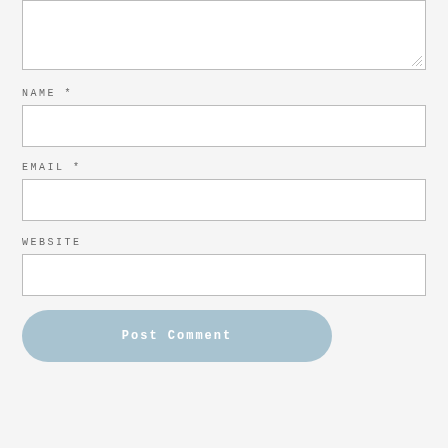[Figure (screenshot): Textarea input box (top portion visible, resizable)]
NAME *
[Figure (screenshot): Name text input field (empty)]
EMAIL *
[Figure (screenshot): Email text input field (empty)]
WEBSITE
[Figure (screenshot): Website text input field (empty)]
Post Comment